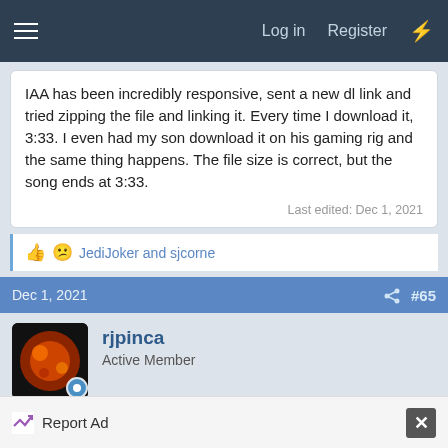Log in  Register
IAA has been incredibly responsive, sent a new dl link and tried zipping the file and linking it. Every time I download it, 3:33. I even had my son download it on his gaming rig and the same thing happens. The file size is correct, but the song ends at 3:33.
Last edited: Dec 1, 2021
JediJoker and sjcorne
Dec 1, 2021  #65
rjpinca
Active Member
I recently purchased this album from IAA, and my Willow
Report Ad